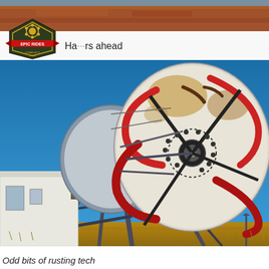[Figure (photo): Reddish-brown outback landscape banner at top of page]
[Figure (logo): Epic Rides hexagonal logo badge in dark green and red with gear icon and text 'EPIC RIDES']
Ha... rs ahead
[Figure (photo): Large satellite dish mounted on metal frame structure against bright blue sky, with Aboriginal-style artwork painted in red and brown on the dish face. A person in a hat is visible behind the structure. The scene appears to be in an arid Australian outback setting.]
Odd bits of rusting tech